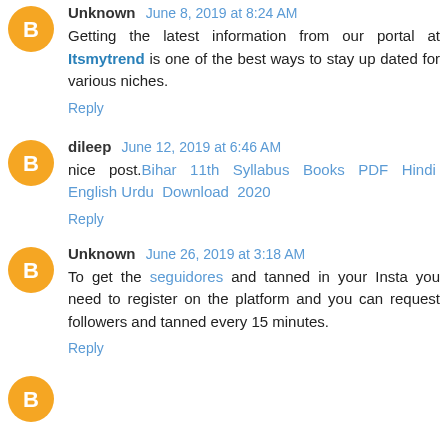Unknown June 8, 2019 at 8:24 AM
Getting the latest information from our portal at Itsmytrend is one of the best ways to stay up dated for various niches.
Reply
dileep June 12, 2019 at 6:46 AM
nice post.Bihar 11th Syllabus Books PDF Hindi English Urdu Download 2020
Reply
Unknown June 26, 2019 at 3:18 AM
To get the seguidores and tanned in your Insta you need to register on the platform and you can request followers and tanned every 15 minutes.
Reply